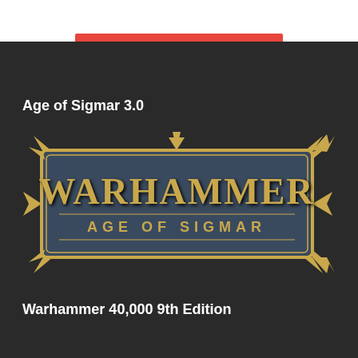[Figure (logo): Red bar at top of page, partial banner element]
Age of Sigmar 3.0
[Figure (logo): Warhammer Age of Sigmar logo — golden ornate lettering with spikes on dark background]
Warhammer 40,000 9th Edition